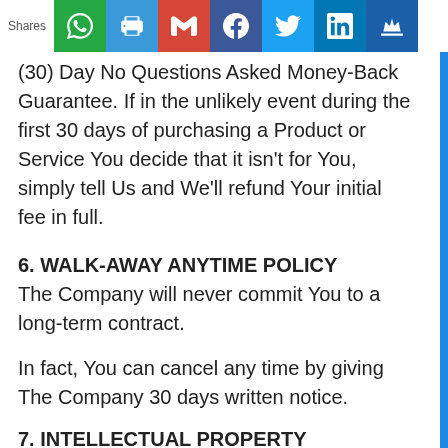Shares
(30) Day No Questions Asked Money-Back Guarantee. If in the unlikely event during the first 30 days of purchasing a Product or Service You decide that it isn’t for You, simply tell Us and We’ll refund Your initial fee in full.
6. WALK-AWAY ANYTIME POLICY
The Company will never commit You to a long-term contract.
In fact, You can cancel any time by giving The Company 30 days written notice.
7. INTELLECTUAL PROPERTY
You agree that all material produced by The